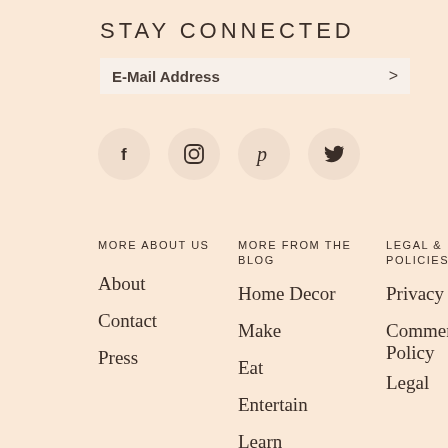STAY CONNECTED
E-Mail Address >
[Figure (infographic): Four social media icons in circular beige buttons: Facebook (f), Instagram (camera), Pinterest (P), Twitter (bird)]
MORE ABOUT US
About
Contact
Press
MORE FROM THE BLOG
Home Decor
Make
Eat
Entertain
Learn
LEGAL & POLICIES
Privacy Policy
Comment Policy
Legal